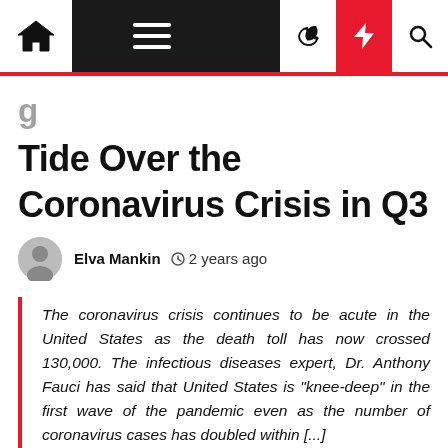Navigation bar with home, menu, moon, lightning, and search icons
...Tide Over the Coronavirus Crisis in Q3
Elva Mankin  2 years ago
The coronavirus crisis continues to be acute in the United States as the death toll has now crossed 130,000. The infectious diseases expert, Dr. Anthony Fauci has said that United States is "knee-deep" in the first wave of the pandemic even as the number of coronavirus cases has doubled within [...]
The coronavirus crisis continues to be acute in the